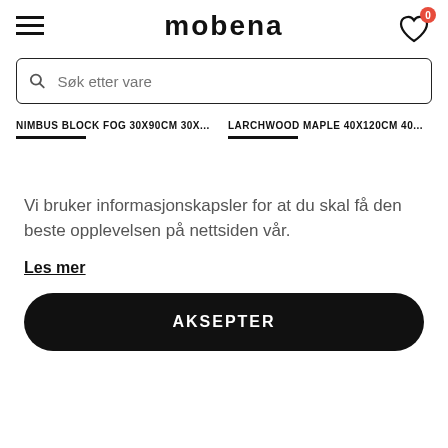mobena
Søk etter vare
NIMBUS BLOCK FOG 30X90CM 30X...
LARCHWOOD MAPLE 40X120CM 40...
Vi bruker informasjonskapsler for at du skal få den beste opplevelsen på nettsiden vår.
Les mer
AKSEPTER